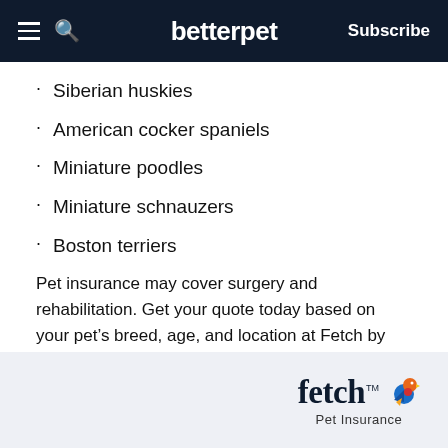betterpet | Subscribe
Siberian huskies
American cocker spaniels
Miniature poodles
Miniature schnauzers
Boston terriers
Pet insurance may cover surgery and rehabilitation. Get your quote today based on your pet’s breed, age, and location at Fetch by the Dodo.
[Figure (logo): Fetch Pet Insurance logo with stylized bird icon in blue, orange, and red colors]